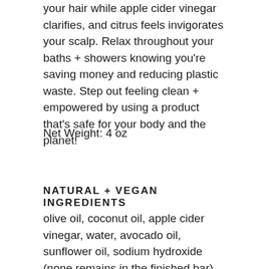your hair while apple cider vinegar clarifies, and citrus feels invigorates your scalp. Relax throughout your baths + showers knowing you're saving money and reducing plastic waste. Step out feeling clean + empowered by using a product that's safe for your body and the planet!
Net Weight: 4 oz
NATURAL + VEGAN INGREDIENTS
olive oil, coconut oil, apple cider vinegar, water, avocado oil, sunflower oil, sodium hydroxide (none remains in the finished bar), unrefined shea butter, castor oil, orange + lemon essential oil